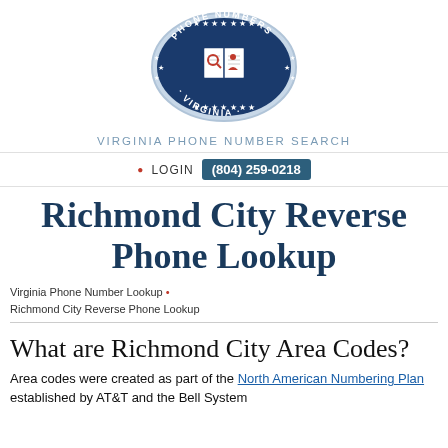[Figure (logo): Oval logo with dark blue background, stars, and an open book with magnifying glass and person icon. Text reads PHONE NUMBERS around top and VIRGINIA around bottom.]
VIRGINIA PHONE NUMBER SEARCH
LOGIN  (804) 259-0218
Richmond City Reverse Phone Lookup
Virginia Phone Number Lookup • Richmond City Reverse Phone Lookup
What are Richmond City Area Codes?
Area codes were created as part of the North American Numbering Plan established by AT&T and the Bell System